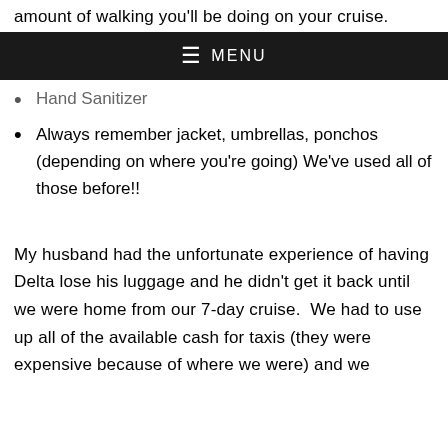amount of walking you'll be doing on your cruise.
≡ MENU
Hand Sanitizer
Always remember jacket, umbrellas, ponchos (depending on where you're going) We've used all of those before!!
My husband had the unfortunate experience of having Delta lose his luggage and he didn't get it back until we were home from our 7-day cruise.  We had to use up all of the available cash for taxis (they were expensive because of where we were) and we